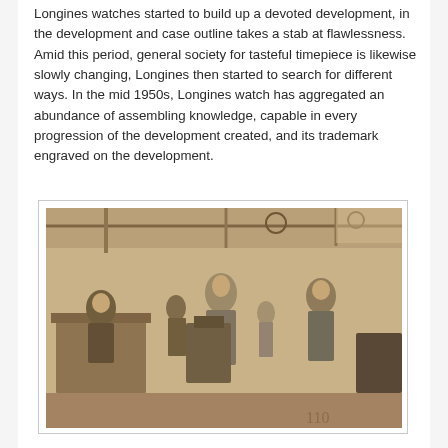Longines watches started to build up a devoted development, in the development and case outline takes a stab at flawlessness. Amid this period, general society for tasteful timepiece is likewise slowly changing, Longines then started to search for different ways. In the mid 1950s, Longines watch has aggregated an abundance of assembling knowledge, capable in every progression of the development created, and its trademark engraved on the development.
[Figure (photo): Sepia-toned historical photograph of a Longines watch factory floor with workers operating machinery at workbenches. Industrial setting with overhead equipment visible.]